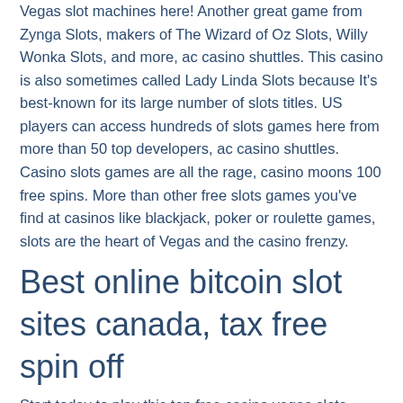Vegas slot machines here! Another great game from Zynga Slots, makers of The Wizard of Oz Slots, Willy Wonka Slots, and more, ac casino shuttles. This casino is also sometimes called Lady Linda Slots because It's best-known for its large number of slots titles. US players can access hundreds of slots games here from more than 50 top developers, ac casino shuttles. Casino slots games are all the rage, casino moons 100 free spins. More than other free slots games you've find at casinos like blackjack, poker or roulette games, slots are the heart of Vegas and the casino frenzy.
Best online bitcoin slot sites canada, tax free spin off
Start today to play this top free casino vegas slots games for huge FREE CHIPS! Win